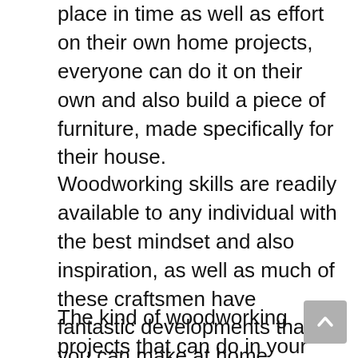place in time as well as effort on their own home projects, everyone can do it on their own and also build a piece of furniture, made specifically for their house.
Woodworking skills are readily available to any individual with the best mindset and also inspiration, as well as much of these craftsmen have fantastic developments that you can make at home.
The kind of woodworking projects that can do in your home are infinite, they can include small jobs such as a reducing board, birdhouse, or toy box large pieces of furnishings consisting of tables and also